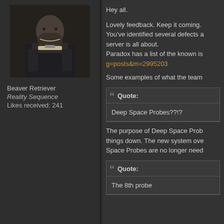[Figure (photo): Avatar image of a character in dark sci-fi armor]
Beaver Retriever
Reality Sequence
Likes received: 241
Hey all.
Lovely feedback. Keep it coming. You've identified several defects a server is all about. Paradox has a list of the known is g=posts&m=2995203
Some examples of what the team
Quote:
Deep Space Probes??!?
The purpose of Deep Space Prob things down. The new system ove Space Probes are no longer need
Quote:
The 8th probe